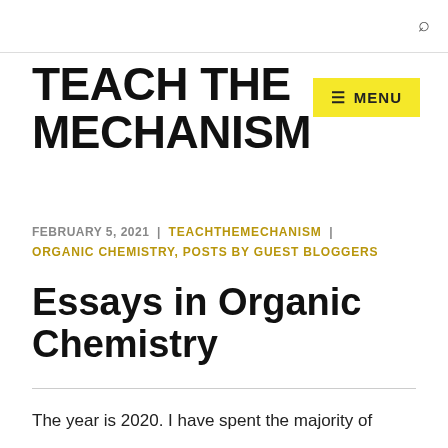🔍
TEACH THE MECHANISM
☰ MENU
FEBRUARY 5, 2021 | TEACHTHEMECHANISM | ORGANIC CHEMISTRY, POSTS BY GUEST BLOGGERS
Essays in Organic Chemistry
The year is 2020. I have spent the majority of